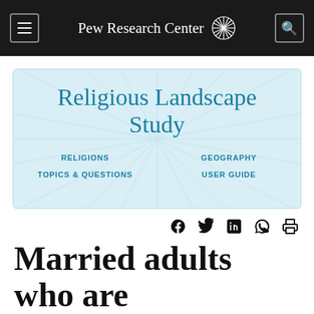Pew Research Center
[Figure (screenshot): Religious Landscape Study banner with teal title text, sunburst background, and navigation links: RELIGIONS, GEOGRAPHY, TOPICS & QUESTIONS, USER GUIDE]
Social share icons: Facebook, Twitter, LinkedIn, WhatsApp, Print
Married adults who are